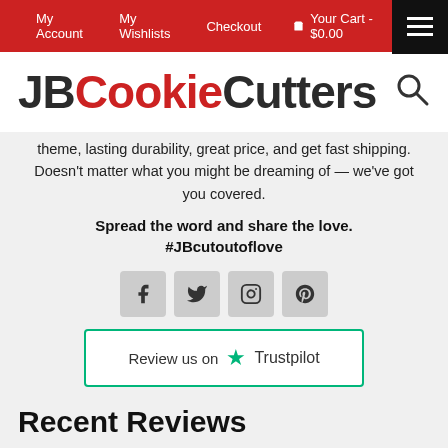My Account | My Wishlists | Checkout | Your Cart - $0.00
JBCookieCutters
theme, lasting durability, great price, and get fast shipping. Doesn't matter what you might be dreaming of — we've got you covered.
Spread the word and share the love.
#JBcutoutoflove
[Figure (infographic): Social media icons: Facebook, Twitter, Instagram, Pinterest]
[Figure (logo): Review us on Trustpilot button with green star logo]
Recent Reviews